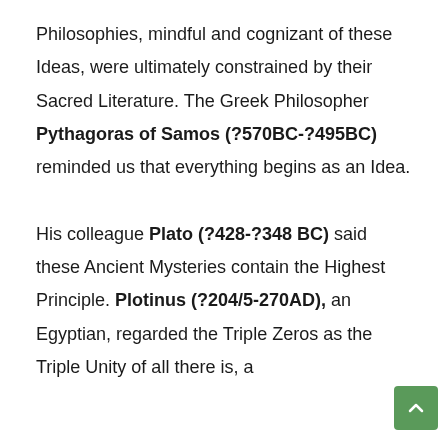Philosophies, mindful and cognizant of these Ideas, were ultimately constrained by their Sacred Literature. The Greek Philosopher Pythagoras of Samos (?570BC-?495BC) reminded us that everything begins as an Idea.

His colleague Plato (?428-?348 BC) said these Ancient Mysteries contain the Highest Principle. Plotinus (?204/5-270AD), an Egyptian, regarded the Triple Zeros as the Triple Unity of all there is, a